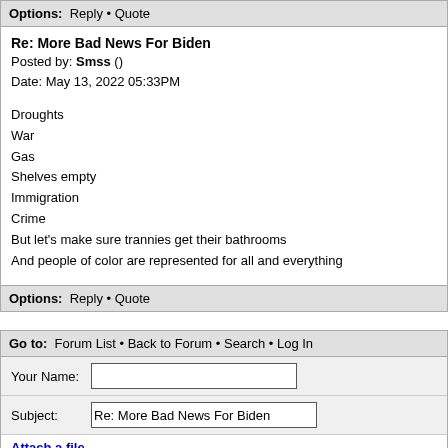Options: Reply • Quote
Re: More Bad News For Biden
Posted by: Smss ()
Date: May 13, 2022 05:33PM
Droughts
War
Gas
Shelves empty
Immigration
Crime
But let's make sure trannies get their bathrooms
And people of color are represented for all and everything
Options: Reply • Quote
Go to: Forum List • Back to Forum • Search • Log In
Your Name:
Subject: Re: More Bad News For Biden
Attach a file ...
Spam prevention:
Please, enter the code that you see below in the input field. This is for blocki...
try to post this form automatically.